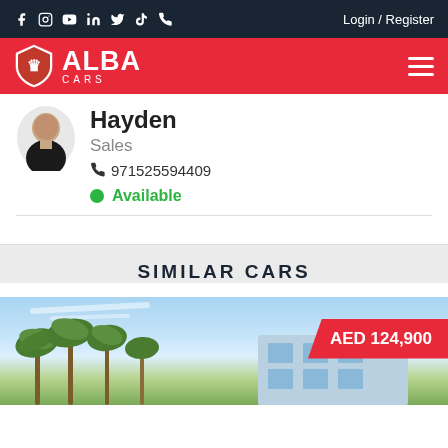Login / Register
[Figure (logo): Alba Cars logo - red shield with lion and white ALBA CARS text on red background]
Hayden
Sales
971525594409
Available
SIMILAR CARS
AED 124,900
[Figure (photo): Car dealership exterior photo with palm trees and blue sky]